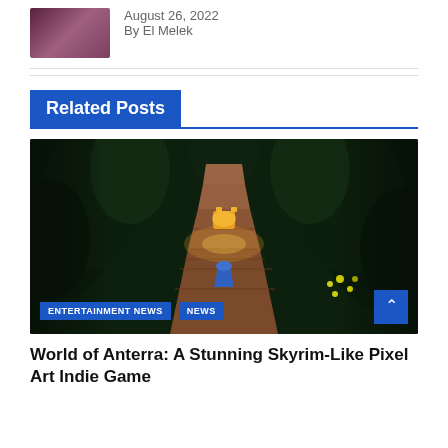[Figure (photo): Thumbnail image with dark purple/pink tones, partially visible]
August 26, 2022
By El Melek
Related Posts
[Figure (screenshot): Top-down pixel art game screenshot showing a character on a brick path in a forest with a glowing creature ahead, surrounded by dark trees and yellow flowers]
ENTERTAINMENT NEWS   NEWS
World of Anterra: A Stunning Skyrim-Like Pixel Art Indie Game